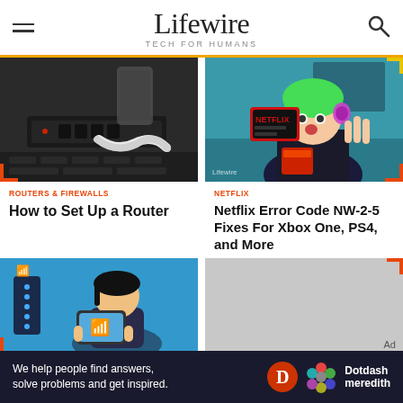Lifewire · TECH FOR HUMANS
[Figure (photo): Close-up of ethernet cables plugged into a router, monochrome/dark tone]
ROUTERS & FIREWALLS
How to Set Up a Router
[Figure (illustration): Animated illustration of a surprised woman with green hair holding a Netflix login screen, popcorn in background, Lifewire watermark]
NETFLIX
Netflix Error Code NW-2-5 Fixes For Xbox One, PS4, and More
[Figure (illustration): Animated illustration of a person holding a tablet with WiFi icon, router in background on blue background]
[Figure (other): Gray advertisement placeholder with Ad label]
We help people find answers, solve problems and get inspired.
Dotdash meredith